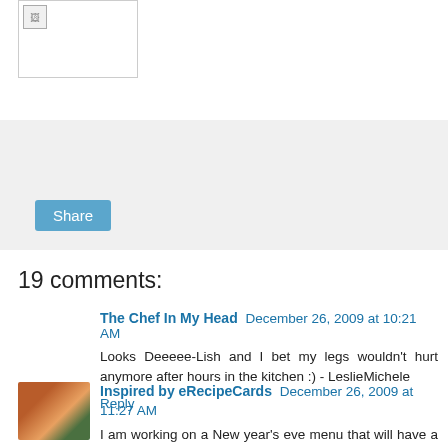[Figure (photo): Broken/placeholder image thumbnail in a bordered box]
[Figure (other): Share bar with a Share button on light gray background]
19 comments:
The Chef In My Head  December 26, 2009 at 10:21 AM
Looks Deeeee-Lish and I bet my legs wouldn't hurt anymore after hours in the kitchen :) - LeslieMichele
Reply
Inspired by eRecipeCards  December 26, 2009 at 11:27 AM
I am working on a New year's eve menu that will have a cocktail bar... I will have this on the menu - GREAT POST